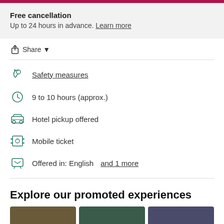Free cancellation
Up to 24 hours in advance. Learn more
Share
Safety measures
9 to 10 hours (approx.)
Hotel pickup offered
Mobile ticket
Offered in: English and 1 more
Explore our promoted experiences